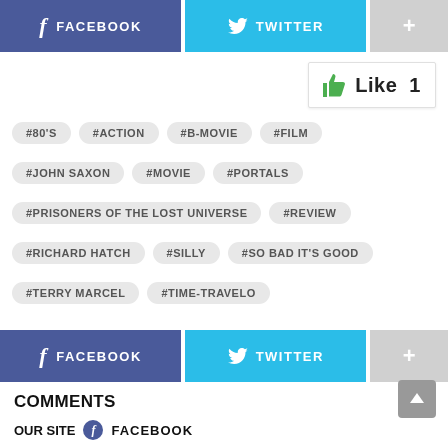[Figure (infographic): Social share buttons row: Facebook (dark blue), Twitter (light blue), Plus (gray)]
[Figure (infographic): Like button widget showing thumbs up icon and count: Like 1]
#80'S
#ACTION
#B-MOVIE
#FILM
#JOHN SAXON
#MOVIE
#PORTALS
#PRISONERS OF THE LOST UNIVERSE
#REVIEW
#RICHARD HATCH
#SILLY
#SO BAD IT'S GOOD
#TERRY MARCEL
#TIME-TRAVELO
[Figure (infographic): Social share buttons row: Facebook (dark blue), Twitter (light blue), Plus (gray)]
COMMENTS
[Figure (infographic): Back to top arrow button (gray square with up arrow)]
OUR SITE  f  FACEBOOK